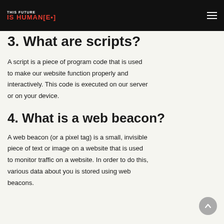THIS FUTURE IS HUMAN[E•]
3. What are scripts?
A script is a piece of program code that is used to make our website function properly and interactively. This code is executed on our server or on your device.
4. What is a web beacon?
A web beacon (or a pixel tag) is a small, invisible piece of text or image on a website that is used to monitor traffic on a website. In order to do this, various data about you is stored using web beacons.